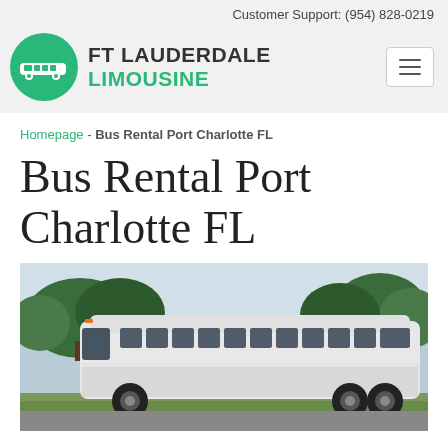Customer Support: (954) 828-0219
[Figure (logo): FT Lauderdale Limousine logo: green circle with white limousine silhouette, next to bold text 'FT LAUDERDALE LIMOUSINE' with LIMOUSINE in green]
Homepage - Bus Rental Port Charlotte FL
Bus Rental Port Charlotte FL
[Figure (photo): Photo of a large white charter/coach bus parked outdoors with green trees in the background and blue sky]